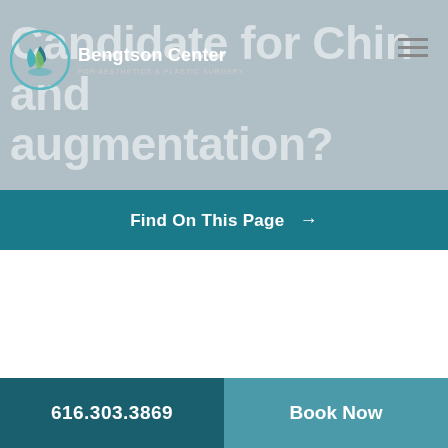[Figure (screenshot): Bengtson Center for Aesthetics & Plastic Surgery website header with logo, navigation hamburger menu, and hero background text reading 'Candidate for Chin and augmentation?']
Find On This Page →
616.303.3869  |  Book Now